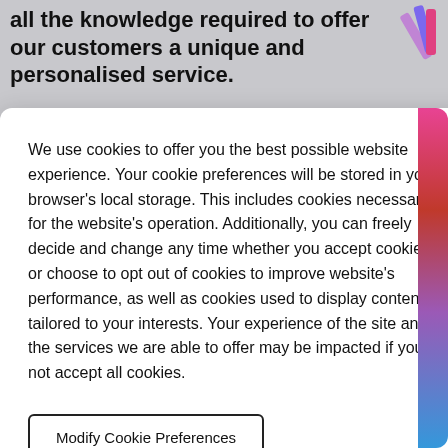all the knowledge required to offer our customers a unique and personalised service.
We use cookies to offer you the best possible website experience. Your cookie preferences will be stored in your browser's local storage. This includes cookies necessary for the website's operation. Additionally, you can freely decide and change any time whether you accept cookies or choose to opt out of cookies to improve website's performance, as well as cookies used to display content tailored to your interests. Your experience of the site and the services we are able to offer may be impacted if you do not accept all cookies.
Modify Cookie Preferences
Accept All Cookies